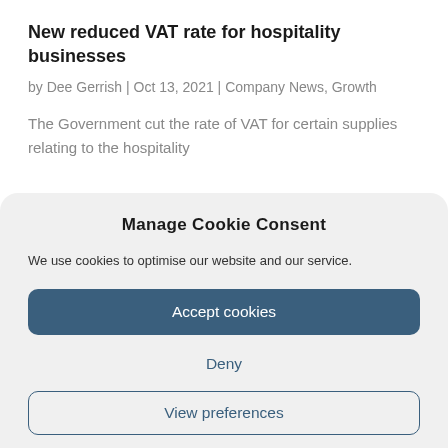New reduced VAT rate for hospitality businesses
by Dee Gerrish | Oct 13, 2021 | Company News, Growth
The Government cut the rate of VAT for certain supplies relating to the hospitality
Manage Cookie Consent
We use cookies to optimise our website and our service.
Accept cookies
Deny
View preferences